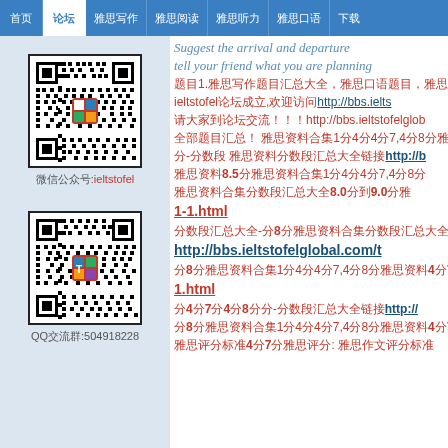首页 | 论坛 | 雅思写作 | 雅思阅读 | 雅思听力 | 雅思口语 | 下载
Suggest the arrival and departure... tell your friend what you are planning...
题目1. (long Chinese text)
ieltstofel论坛成立,欢迎访问 http://bbs.ielts...
(Chinese text) http://bbs.ieltstofelglob...
(Chinese text)! (Chinese text)1分4分4分7,4分8分...
分-分数段 (Chinese text) http://b...
(Chinese text)8.5分(Chinese text)
(Chinese text)8.0分(Chinese text)9.0分...
1-1.html
(Chinese text)-分8分(Chinese text)Ro...
http://bbs.ieltstofelglobal.com/t...
分8分(Chinese text)4分7...
1.html
分4分7分4分8分分-分(Chinese text) http://...
分8分(Chinese text)4分7...
(Chinese text)4分7分(Chinese text): (Chinese text)
[Figure (other): QR code for ieltstofel WeChat account]
微信公众号:ieltstofel
[Figure (other): QR code for QQ group 504918228]
QQ交流群:504918228